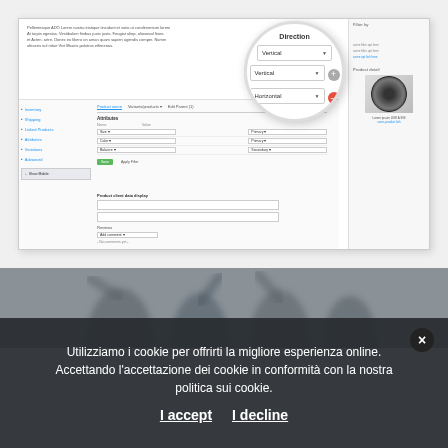[Figure (screenshot): A screenshot of a web application UI showing a product filter interface with a magnified circle overlay highlighting Direction settings (Vertical, Vertical, Horizontal dropdowns with add and remove buttons)]
[Figure (photo): A blurred/darkened photo of people in the background, partially visible behind a cookie consent overlay bar]
Utilizziamo i cookie per offrirti la migliore esperienza online. Accettando l'accettazione dei cookie in conformità con la nostra politica sui cookie.
I accept   I decline